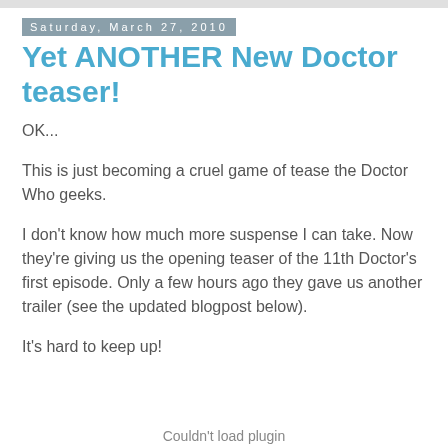Saturday, March 27, 2010
Yet ANOTHER New Doctor teaser!
OK...
This is just becoming a cruel game of tease the Doctor Who geeks.
I don't know how much more suspense I can take. Now they're giving us the opening teaser of the 11th Doctor's first episode. Only a few hours ago they gave us another trailer (see the updated blogpost below).
It's hard to keep up!
Couldn't load plugin